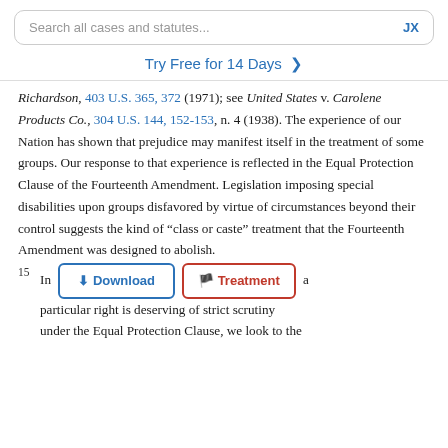[Figure (screenshot): Search bar UI element with placeholder text 'Search all cases and statutes...' and 'JX' label on the right]
Try Free for 14 Days >
Richardson, 403 U.S. 365, 372 (1971); see United States v. Carolene Products Co., 304 U.S. 144, 152-153, n. 4 (1938). The experience of our Nation has shown that prejudice may manifest itself in the treatment of some groups. Our response to that experience is reflected in the Equal Protection Clause of the Fourteenth Amendment. Legislation imposing special disabilities upon groups disfavored by virtue of circumstances beyond their control suggests the kind of “class or caste” treatment that the Fourteenth Amendment was designed to abolish.
15 In [Download] [Treatment] a particular right is deserving of strict scrutiny under the Equal Protection Clause, we look to the